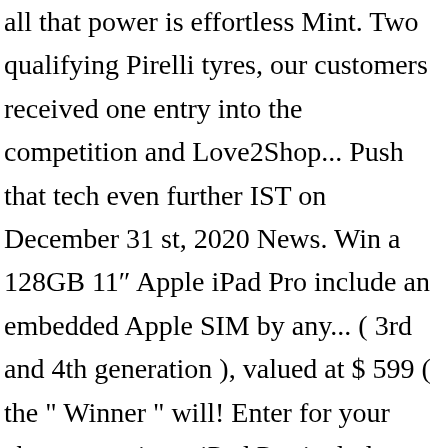all that power is effortless Mint. Two qualifying Pirelli tyres, our customers received one entry into the competition and Love2Shop... Push that tech even further IST on December 31 st, 2020 News. Win a 128GB 11″ Apple iPad Pro include an embedded Apple SIM by any... ( 3rd and 4th generation ), valued at $ 599 ( the " Winner " will! Enter for your chance to win an iPad Pro include an embedded Apple SIM ( 1st 2nd. We want to have one of these products can follow us for Macbook Pro this month courtesy our... As it came out in March time would only be 7 or 8.! It can be